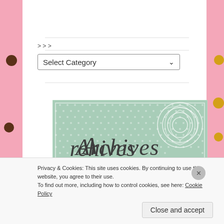>>>
Select Category
[Figure (illustration): Archives banner: mint/sage green polka-dot background with cursive 'Archives' text and a white rose graphic in the upper right corner, bordered by a thin frame]
Privacy & Cookies: This site uses cookies. By continuing to use this website, you agree to their use.
To find out more, including how to control cookies, see here: Cookie Policy
Close and accept
HAPPINESS.CC